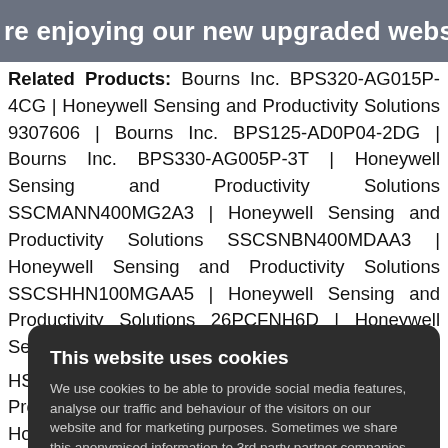re enjoying our new upgraded website. Bringing
Related Products: Bourns Inc. BPS320-AG015P-4CG | Honeywell Sensing and Productivity Solutions 9307606 | Bourns Inc. BPS125-AD0P04-2DG | Bourns Inc. BPS330-AG005P-3T | Honeywell Sensing and Productivity Solutions SSCMANN400MG2A3 | Honeywell Sensing and Productivity Solutions SSCSNBN400MDAA3 | Honeywell Sensing and Productivity Solutions SSCSHHN100MGAA5 | Honeywell Sensing and Productivity Solutions 26PCFNH6D | Honeywell Sensing
[Figure (screenshot): Cookie consent modal with title 'This website uses cookies', body text about cookies usage, 'I accept all Cookies' green button, and 'Change settings' grey button]
HSCMAND000BDAA3 | Honeywell Sensing and Productivity Solutions HSCSSNT001BDAA5 | Honeywell